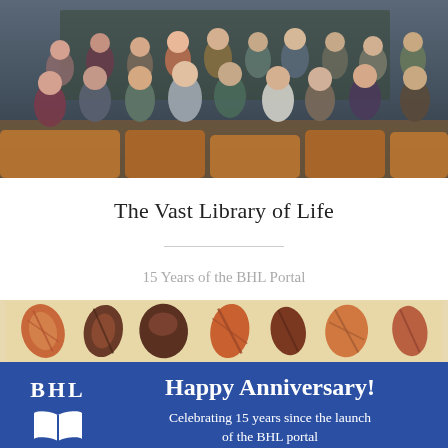[Figure (photo): Group photo of approximately 18-20 people standing together in what appears to be a lecture hall or conference room with tiered orange/wood seating visible in the background. The group includes men and women of various ages.]
The Vast Library of Life
15 Years of the BHL Portal
[Figure (illustration): Decorative banner with illustrated shells/mollusks on a beige/tan background showing various colorful spiral and cone shells]
[Figure (illustration): Blue BHL anniversary banner with BHL logo (text BHL with white open book icon) on the left and text: Happy Anniversary! Celebrating 15 years since the launch of the BHL portal]
[Figure (illustration): Bottom decorative strip with illustrated shells/mollusks on a beige/tan background]